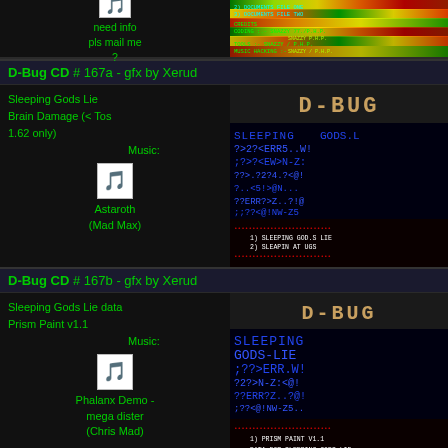need info
pls mail me
?
[Figure (screenshot): Heatmap/plasma effect screenshot with green/yellow/red color waves and cyan text credits showing Documents File One, Documents File Two, Credits, Coding, Tools, Music Hacking]
D-Bug CD # 167a - gfx by Xerud
Sleeping Gods Lie
Brain Damage (< Tos 1.62 only)

Music:
Astaroth
(Mad Max)
[Figure (screenshot): D-Bug CD #167a screenshot showing D-Bug logo, blue scrambled text (Sleeping Gods Lie), and red dotted info panel with track listing]
D-Bug CD # 167b - gfx by Xerud
Sleeping Gods Lie data
Prism Paint v1.1

Music:
Phalanx Demo -
mega dister
(Chris Mad)
[Figure (screenshot): D-Bug CD #167b screenshot showing D-Bug logo, blue scrambled text (Sleeping Gods Lie data), and red dotted info panel: Prism Paint v1.1, data for Sleeping Gods Lie]